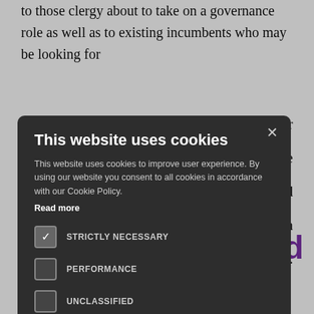to those clergy about to take on a governance role as well as to existing incumbents who may be looking for [circumstances or] [also in the] [schools and] [status in] [overnance.]
[Figure (screenshot): Cookie consent modal dialog on a dark background overlay. The modal has a dark grey background with title 'This website uses cookies', body text about cookie usage, a Read more link, three checkboxes (STRICTLY NECESSARY checked, PERFORMANCE unchecked, UNCLASSIFIED unchecked), ACCEPT ALL (green) and DECLINE ALL (outlined) buttons, and a SHOW DETAILS link with gear icon. An X close button is in the top right of the modal.]
nd
[hools it] [recedented] challenges arising from the increased expectations of